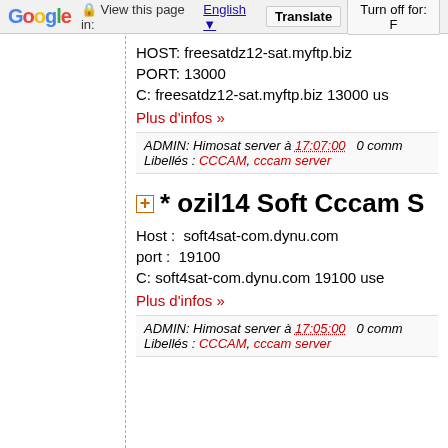Google  View this page in: English  Translate  Turn off for: F
HOST: freesatdz12-sat.myftp.biz
PORT: 13000
C: freesatdz12-sat.myftp.biz 13000 us
Plus d'infos »
ADMIN: Himosat server à 17:07:00  0 comm
Libellés : CCCAM, cccam server
* ozil14 Soft Cccam S
Host :  soft4sat-com.dynu.com
port :  19100
C: soft4sat-com.dynu.com 19100 use
Plus d'infos »
ADMIN: Himosat server à 17:05:00  0 comm
Libellés : CCCAM, cccam server